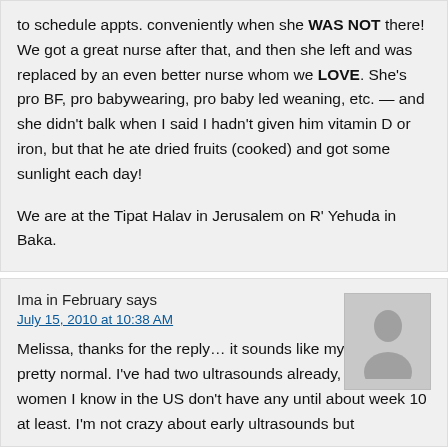to schedule appts. conveniently when she WAS NOT there! We got a great nurse after that, and then she left and was replaced by an even better nurse whom we LOVE. She's pro BF, pro babywearing, pro baby led weaning, etc. — and she didn't balk when I said I hadn't given him vitamin D or iron, but that he ate dried fruits (cooked) and got some sunlight each day!

We are at the Tipat Halav in Jerusalem on R' Yehuda in Baka.
Ima in February says
July 15, 2010 at 10:38 AM
Melissa, thanks for the reply… it sounds like my doctor is pretty normal. I've had two ultrasounds already, while women I know in the US don't have any until about week 10 at least. I'm not crazy about early ultrasounds but